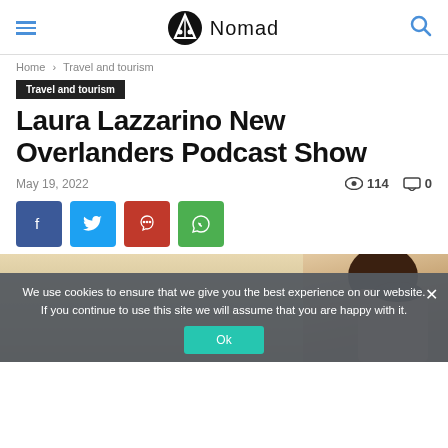Nomad
Home › Travel and tourism
Travel and tourism
Laura Lazzarino New Overlanders Podcast Show
May 19, 2022  ● 114  ✉ 0
[Figure (other): Social share buttons: Facebook, Twitter, Pinterest, WhatsApp]
[Figure (photo): Partial photo of a person (face and dark hair visible on right side), with a cookie consent overlay banner at the bottom]
We use cookies to ensure that we give you the best experience on our website. If you continue to use this site we will assume that you are happy with it.
Ok